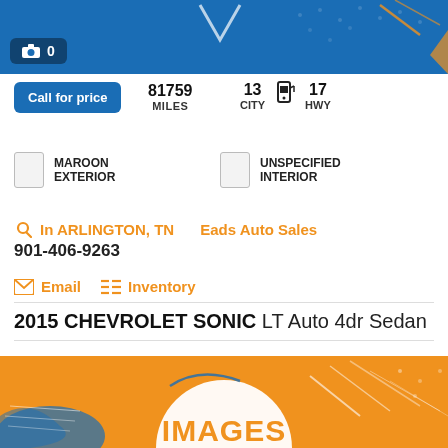[Figure (screenshot): Blue banner with camera icon and 0 photo count badge]
Call for price
81759 MILES
13 CITY 17 HWY
MAROON EXTERIOR
UNSPECIFIED INTERIOR
In ARLINGTON, TN   Eads Auto Sales
901-406-9263
Email   Inventory
2015 CHEVROLET SONIC LT Auto 4dr Sedan
[Figure (illustration): Orange banner with IMAGES text in white circle]